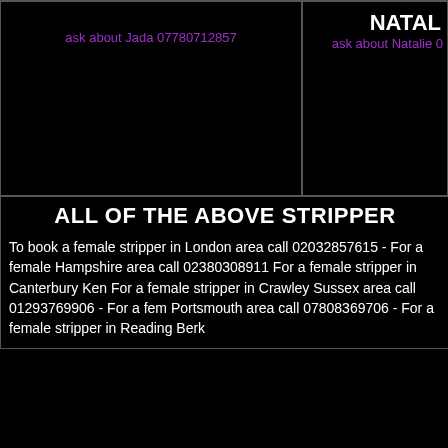ask about Jada 07780712857
NATAL
ask about Natalie 0
ALL OF THE ABOVE STRIPPER
To book a female stripper in London area call 02032857615 - For a female Hampshire area call 02380308911 For a female stripper in Canterbury Ken For a female stripper in Crawley Sussex area call 01293769906 - For a fem Portsmouth area call 07808369706 - For a female stripper in Reading Berk
uk female strippers gallery : West Midlands S
Cambridge:
ALL OF THE STRIPPERS PICTURE
[Figure (photo): Two black image cells side by side at bottom of page]